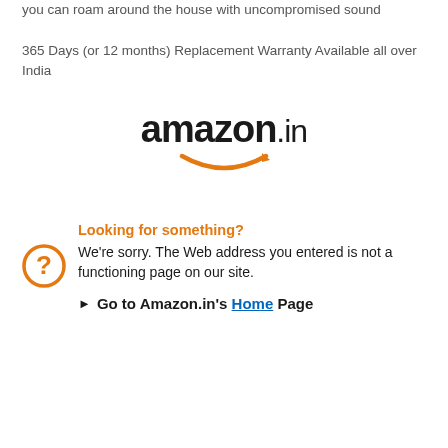you can roam around the house with uncompromised sound
365 Days (or 12 months) Replacement Warranty Available all over India
[Figure (logo): Amazon.in logo with orange smile/arrow underneath]
Looking for something?
We're sorry. The Web address you entered is not a functioning page on our site.
Go to Amazon.in's Home Page